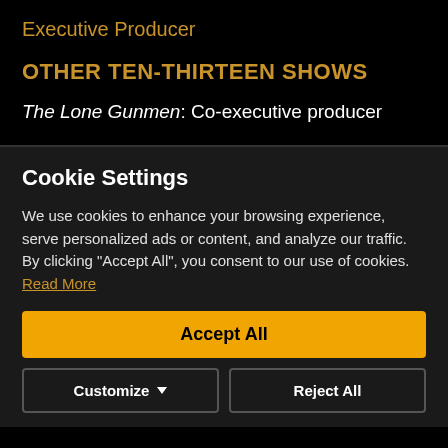Executive Producer
OTHER TEN-THIRTEEN SHOWS
The Lone Gunmen: Co-executive producer
Cookie Settings
We use cookies to enhance your browsing experience, serve personalized ads or content, and analyze our traffic. By clicking "Accept All", you consent to our use of cookies. Read More
Accept All
Customize
Reject All